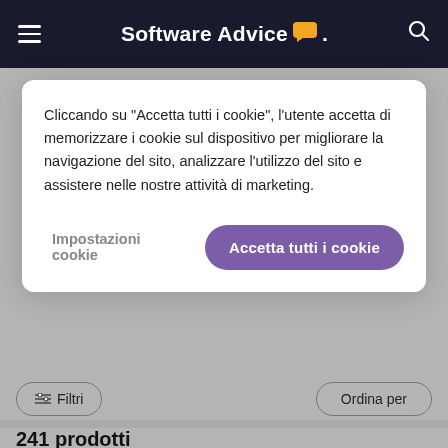Software Advice
Cliccando su "Accetta tutti i cookie", l'utente accetta di memorizzare i cookie sul dispositivo per migliorare la navigazione del sito, analizzare l'utilizzo del sito e assistere nelle nostre attività di marketing.
Impostazioni cookie
Accetta tutti i cookie
Filtri
Ordina per
241 prodotti
Zoho CRM
Zoho CRM is a cloud-based business management